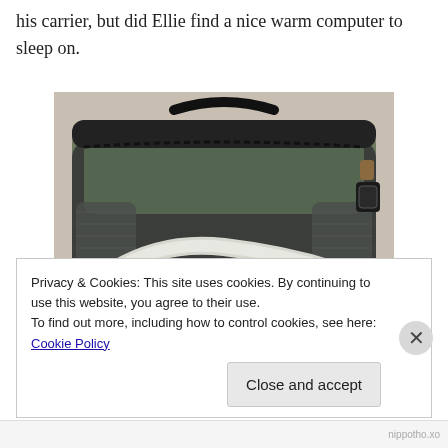his carrier, but did Ellie find a nice warm computer to sleep on.
[Figure (photo): A soft-sided pet carrier bag in dark grey/black and olive green colors, open at the top, sitting on a carpet floor. The carrier has mesh panels on the sides and a white curved strap detail at the bottom front.]
Privacy & Cookies: This site uses cookies. By continuing to use this website, you agree to their use.
To find out more, including how to control cookies, see here: Cookie Policy
Close and accept